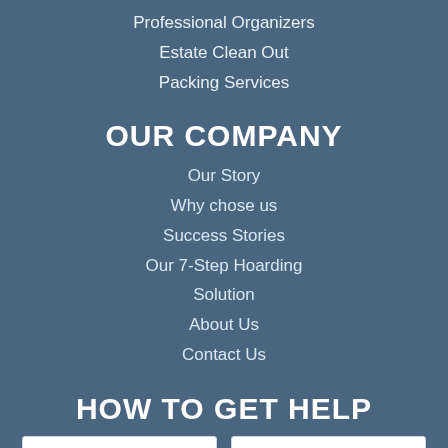Professional Organizers
Estate Clean Out
Packing Services
OUR COMPANY
Our Story
Why chose us
Success Stories
Our 7-Step Hoarding Solution
About Us
Contact Us
HOW TO GET HELP
First Name *
Last Name *